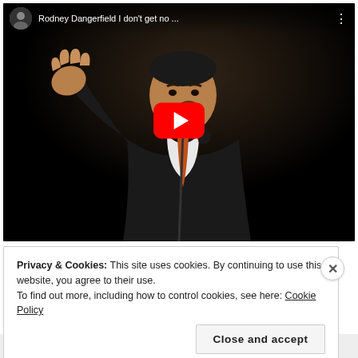[Figure (screenshot): YouTube video thumbnail showing Rodney Dangerfield performing stand-up comedy on stage, holding a microphone, wearing a dark suit and orange tie, one hand raised. Video title shown in top bar: 'Rodney Dangerfield I don't get no ...' with channel avatar and menu dots. Red YouTube play button centered on the video.]
Privacy & Cookies: This site uses cookies. By continuing to use this website, you agree to their use.
To find out more, including how to control cookies, see here: Cookie Policy
Close and accept